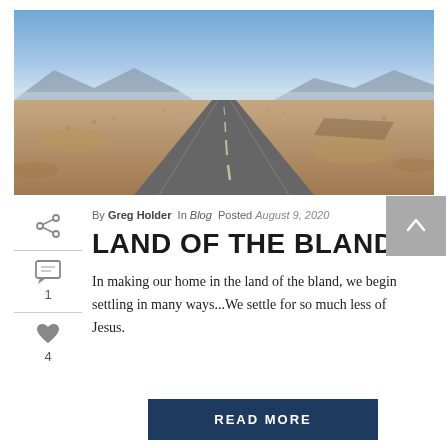[Figure (photo): Aerial view of a straight two-lane highway cutting through vast flat desert landscape with brown scrubland, mountains in the background, and a clear blue sky above.]
By Greg Holder In Blog Posted August 9, 2020
LAND OF THE BLAND
In making our home in the land of the bland, we begin settling in many ways...We settle for so much less of Jesus.
READ MORE